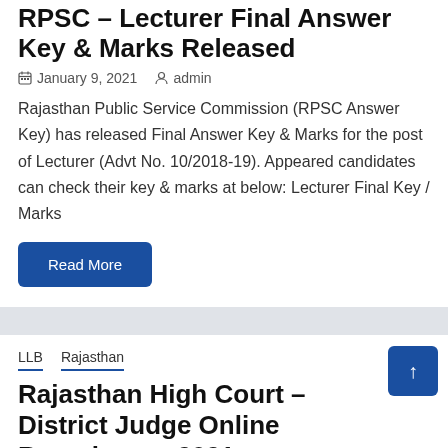RPSC – Lecturer Final Answer Key & Marks Released
January 9, 2021   admin
Rajasthan Public Service Commission (RPSC Answer Key) has released Final Answer Key & Marks for the post of Lecturer (Advt No. 10/2018-19). Appeared candidates can check their key & marks at below: Lecturer Final Key / Marks
Read More
LLB   Rajasthan
Rajasthan High Court – District Judge Online Recruitment 2021